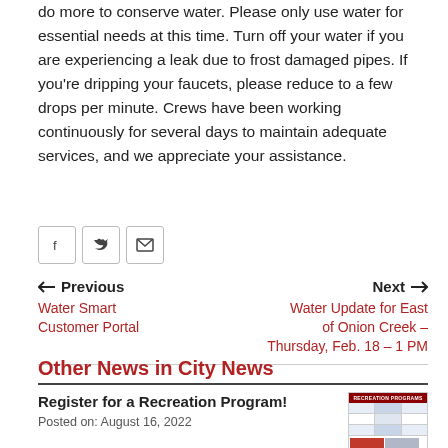do more to conserve water. Please only use water for essential needs at this time. Turn off your water if you are experiencing a leak due to frost damaged pipes. If you're dripping your faucets, please reduce to a few drops per minute. Crews have been working continuously for several days to maintain adequate services, and we appreciate your assistance.
[Figure (infographic): Social sharing icons: Facebook, Twitter, Email]
← Previous  Water Smart Customer Portal    Next →  Water Update for East of Onion Creek – Thursday, Feb. 18 – 1 PM
Other News in City News
Register for a Recreation Program!
Posted on: August 16, 2022
[Figure (screenshot): Thumbnail image of Recreation Programs flyer]